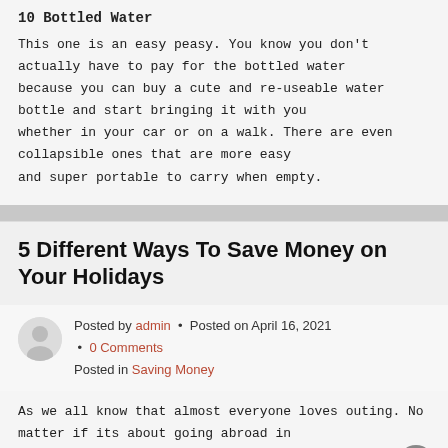10 Bottled Water
This one is an easy peasy. You know you don't actually have to pay for the bottled water because you can buy a cute and re-useable water bottle and start bringing it with you whether in your car or on a walk. There are even collapsible ones that are more easy and super portable to carry when empty.
5 Different Ways To Save Money on Your Holidays
Posted by admin • Posted on April 16, 2021 • 0 Comments
Posted in Saving Money
As we all know that almost everyone loves outing. No matter if its about going abroad in search of some sunshine or booking a comfortable and relaxing